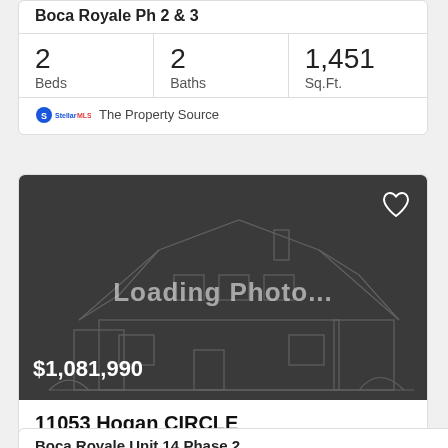Boca Royale Ph 2 & 3
| Beds | Baths | Sq.Ft. |
| --- | --- | --- |
| 2 | 2 | 1,451 |
The Property Source
[Figure (photo): Loading Photo placeholder with house outline illustration. Price overlay: $1,081,990]
11053 Hogan CIRCLE
ENGLEWOOD, FL 34223
Boca Royale Unit 14 Phase 2